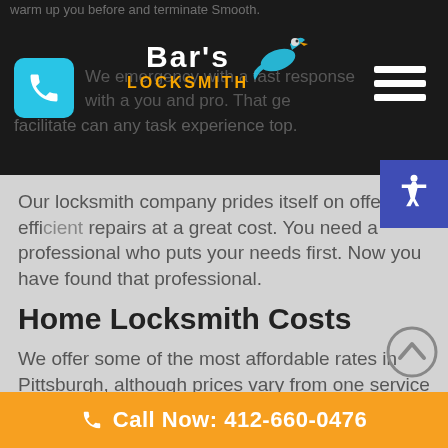Bar's Locksmith
Our locksmith company prides itself on offering efficient repairs at a great cost. You need a professional who puts your needs first. Now you have found that professional.
Home Locksmith Costs
We offer some of the most affordable rates in Pittsburgh, although prices vary from one service to the next. We stand behind our work and ensure service is done right the first time around. Request a free quote to learn the exact costs of your home expert services from
Call Now: 412-660-0476